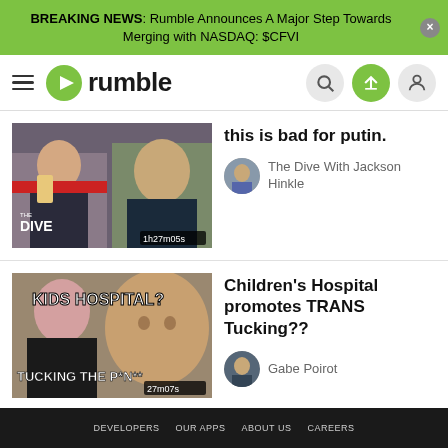BREAKING NEWS: Rumble Announces A Major Step Towards Merging with NASDAQ: $CFVI
[Figure (screenshot): Rumble website navigation bar with hamburger menu, Rumble logo (green play button icon + 'rumble' text), search icon, upload icon, and user profile icon]
[Figure (photo): Video thumbnail showing two men - one covering face with phone, one smiling. Text overlay: 'THE DIVE' and '1h27m05s' duration badge]
this is bad for putin.
The Dive With Jackson Hinkle
[Figure (photo): Video thumbnail showing two people with text overlay 'KIDS HOSPITAL?' and 'TUCKING THE P*N**' and '27m07s' duration badge]
Children's Hospital promotes TRANS Tucking??
Gabe Poirot
DEVELOPERS  OUR APPS  ABOUT US  CAREERS